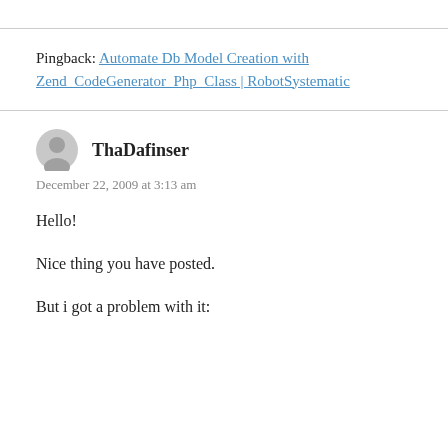Pingback: Automate Db Model Creation with Zend_CodeGenerator_Php_Class | RobotSystematic
ThaDafinser
December 22, 2009 at 3:13 am
Hello!
Nice thing you have posted.
But i got a problem with it: